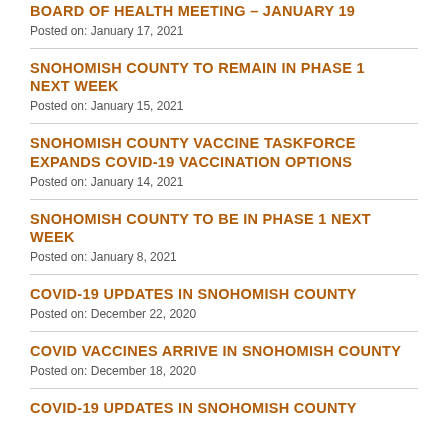BOARD OF HEALTH MEETING – JANUARY 19
Posted on: January 17, 2021
SNOHOMISH COUNTY TO REMAIN IN PHASE 1 NEXT WEEK
Posted on: January 15, 2021
SNOHOMISH COUNTY VACCINE TASKFORCE EXPANDS COVID-19 VACCINATION OPTIONS
Posted on: January 14, 2021
SNOHOMISH COUNTY TO BE IN PHASE 1 NEXT WEEK
Posted on: January 8, 2021
COVID-19 UPDATES IN SNOHOMISH COUNTY
Posted on: December 22, 2020
COVID VACCINES ARRIVE IN SNOHOMISH COUNTY
Posted on: December 18, 2020
COVID-19 UPDATES IN SNOHOMISH COUNTY